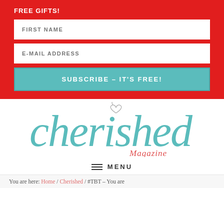FREE GIFTS!
FIRST NAME
E-MAIL ADDRESS
SUBSCRIBE – IT'S FREE!
[Figure (logo): Cherished Magazine logo in teal script font with a small illustrated heart above the 'i', and 'Magazine' in red beneath]
MENU
You are here: Home / Cherished / #TBT – You are